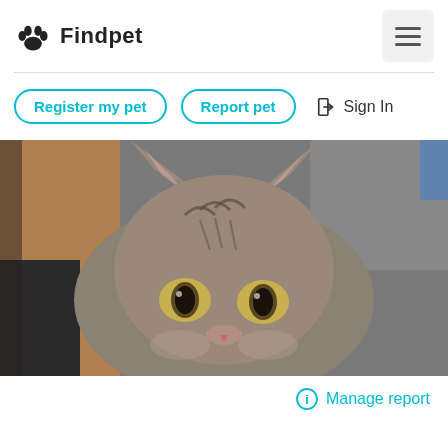Findpet
Register my pet
Report pet
Sign In
[Figure (photo): Close-up photo of a young tabby kitten with gray striped fur, large amber/green eyes, and pink ears, looking directly at camera]
Manage report